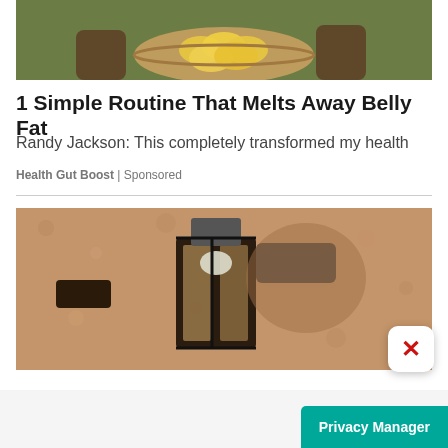[Figure (photo): Top portion of an advertisement image showing hands holding a bowl of lemon slices]
1 Simple Routine That Melts Away Belly Fat
Randy Jackson: This completely transformed my health
Health Gut Boost | Sponsored
[Figure (photo): Outdoor wall-mounted lantern light fixture on a textured stucco wall, with a close (X) button overlay in the bottom right corner]
Privacy Manager